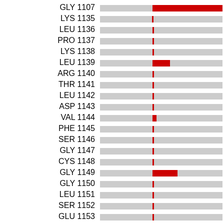[Figure (bar-chart): Horizontal bar chart showing per-residue deviation values. Each residue has a gray background bar and a red marker/bar indicating the deviation. GLY 1107 and GLY 1149 have large red bars; LEU 1139 and VAL 1144 have smaller red segments.]